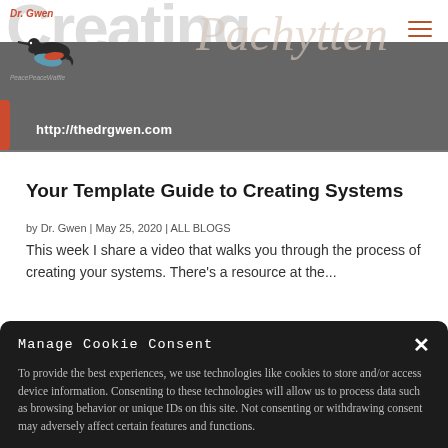Dr. Gwen | PeacePeaceWaffle logo | http://thedrgwen.com
Your Template Guide to Creating Systems
by Dr. Gwen | May 25, 2020 | ALL BLOGS
This week I share a video that walks you through the process of creating your systems. There's a resource at the...
Manage Cookie Consent
To provide the best experiences, we use technologies like cookies to store and/or access device information. Consenting to these technologies will allow us to process data such as browsing behavior or unique IDs on this site. Not consenting or withdrawing consent may adversely affect certain features and functions.